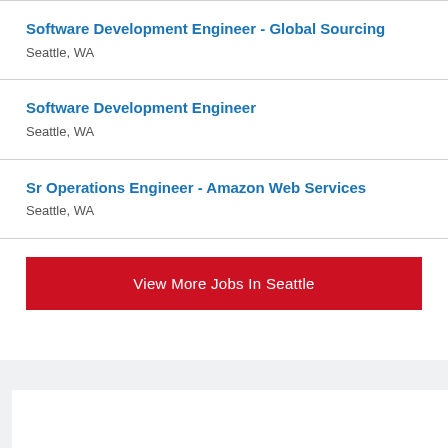Software Development Engineer - Global Sourcing
Seattle, WA
Software Development Engineer
Seattle, WA
Sr Operations Engineer - Amazon Web Services
Seattle, WA
View More Jobs In Seattle